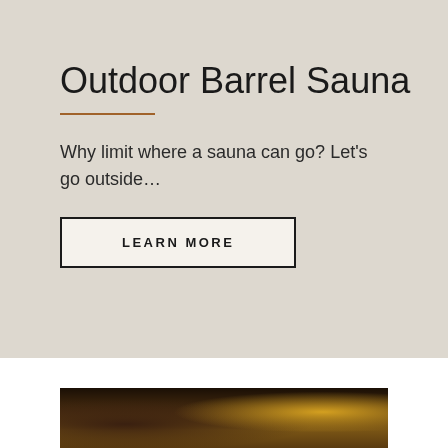Outdoor Barrel Sauna
Why limit where a sauna can go? Let's go outside…
LEARN MORE
[Figure (photo): Partial view of wooden sauna interior, dark warm tones with wood grain texture visible]